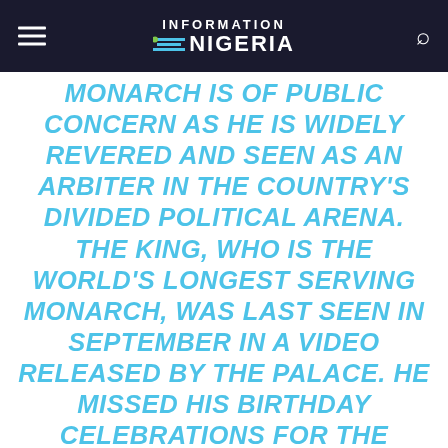INFORMATION NIGERIA
MONARCH IS OF PUBLIC CONCERN AS HE IS WIDELY REVERED AND SEEN AS AN ARBITER IN THE COUNTRY'S DIVIDED POLITICAL ARENA. THE KING, WHO IS THE WORLD'S LONGEST SERVING MONARCH, WAS LAST SEEN IN SEPTEMBER IN A VIDEO RELEASED BY THE PALACE. HE MISSED HIS BIRTHDAY CELEBRATIONS FOR THE SECOND CONSECUTIVE YEAR ON 5 DECEMBER. THE EVENT WAS MARKED BY A CYCLING EVENT LAST WEEK IN BANGKOK LED BY HIS SON, CROWN PRINCE MAHA